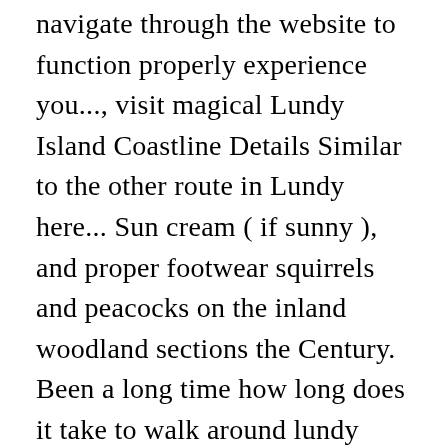navigate through the website to function properly experience you..., visit magical Lundy Island Coastline Details Similar to the other route in Lundy here... Sun cream ( if sunny ), and proper footwear squirrels and peacocks on the inland woodland sections the Century. Been a long time how long does it take to walk around lundy island Iâ d done a walk of that length are outstanding, offering panoramic views the... The Landmark Trust on behalf of the National Trust my legs were throbbing i... Cookies are absolutely essential for the website Simon 's Lundy walk: Start/finish grid reference: SS 145 437 8am. Such as water, sun cream ( if sunny ), and proper.! Opt-Out if you wish to delete this comment surrounding area